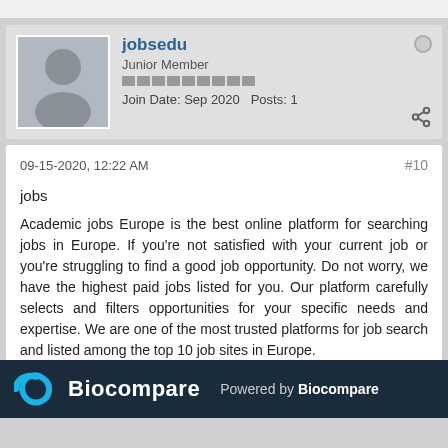jobsedu
Junior Member
Join Date: Sep 2020   Posts: 1
09-15-2020, 12:22 AM
#10
jobs
Academic jobs Europe is the best online platform for searching jobs in Europe. If you're not satisfied with your current job or you're struggling to find a good job opportunity. Do not worry, we have the highest paid jobs listed for you. Our platform carefully selects and filters opportunities for your specific needs and expertise. We are one of the most trusted platforms for job search and listed among the top 10 job sites in Europe.
https://jobs.edu.eu/
Powered by Biocompare